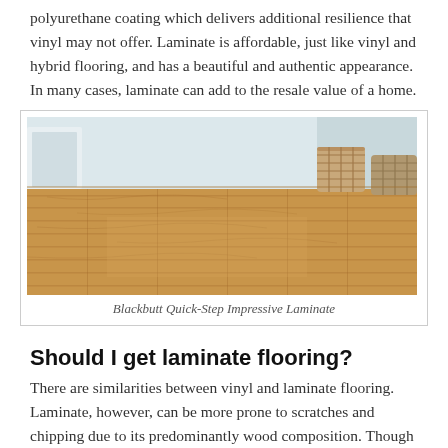polyurethane coating which delivers additional resilience that vinyl may not offer. Laminate is affordable, just like vinyl and hybrid flooring, and has a beautiful and authentic appearance. In many cases, laminate can add to the resale value of a home.
[Figure (photo): Interior room photo showing warm honey-toned laminate flooring (Blackbutt Quick-Step Impressive Laminate) with white furniture and wicker baskets in the background.]
Blackbutt Quick-Step Impressive Laminate
Should I get laminate flooring?
There are similarities between vinyl and laminate flooring. Laminate, however, can be more prone to scratches and chipping due to its predominantly wood composition. Though it is considered more durable, it does not have the same resistance to moisture as vinyl and hybrid flooring. This can result in warping, buckling and separating of the planks. The